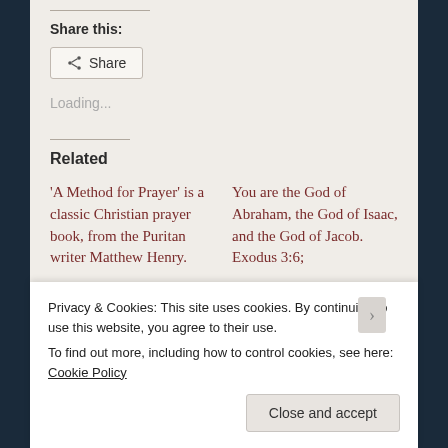Share this:
Share
Loading...
Related
'A Method for Prayer' is a classic Christian prayer book, from the Puritan writer Matthew Henry.
You are the God of Abraham, the God of Isaac, and the God of Jacob. Exodus 3:6;
Privacy & Cookies: This site uses cookies. By continuing to use this website, you agree to their use.
To find out more, including how to control cookies, see here: Cookie Policy